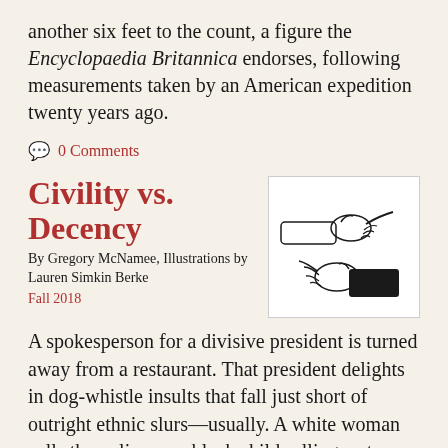another six feet to the count, a figure the Encyclopaedia Britannica endorses, following measurements taken by an American expedition twenty years ago.
0 Comments
Civility vs. Decency
By Gregory McNamee, Illustrations by Lauren Simkin Berke
Fall 2018
[Figure (illustration): Line drawing illustration of two hands: one hand pointing/gesturing from upper left, another hand gesturing from lower right, suggesting an exchange or interaction.]
A spokesperson for a divisive president is turned away from a restaurant. That president delights in dog-whistle insults that fall just short of outright ethnic slurs—usually. A white woman calls the police on a black child selling water on a city street on a beastly hot day. A patron who hasn't been turned away from a restaurant leaves a note for the server, who bears an Arabic